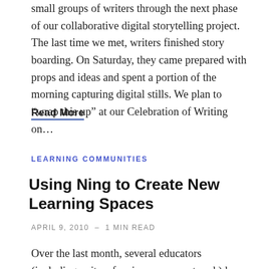small groups of writers through the next phase of our collaborative digital storytelling project. The last time we met, writers finished story boarding. On Saturday, they came prepared with props and ideas and spent a portion of the morning capturing digital stills. We plan to “wrap this up” at our Celebration of Writing on…
Read More
LEARNING COMMUNITIES
Using Ning to Create New Learning Spaces
APRIL 9, 2010  -  1 MIN READ
Over the last month, several educators (including quite a few in my own network) have launched new communities in Ning.